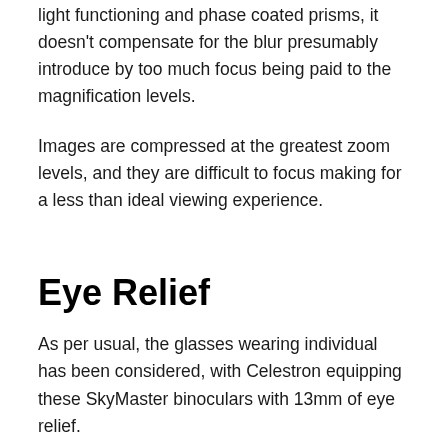light functioning and phase coated prisms, it doesn't compensate for the blur presumably introduce by too much focus being paid to the magnification levels.
Images are compressed at the greatest zoom levels, and they are difficult to focus making for a less than ideal viewing experience.
Eye Relief
As per usual, the glasses wearing individual has been considered, with Celestron equipping these SkyMaster binoculars with 13mm of eye relief.
Thats ample space for the thickest of glasses, and also a great length to ensure that the binoculars are